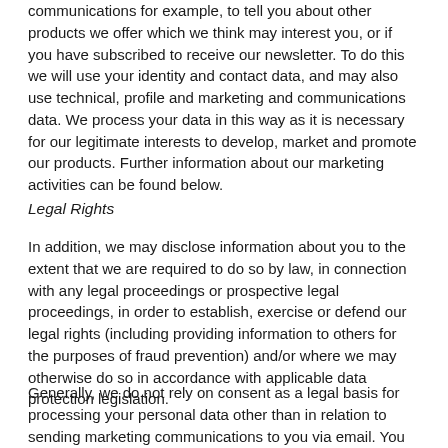communications for example, to tell you about other products we offer which we think may interest you, or if you have subscribed to receive our newsletter. To do this we will use your identity and contact data, and may also use technical, profile and marketing and communications data. We process your data in this way as it is necessary for our legitimate interests to develop, market and promote our products. Further information about our marketing activities can be found below.
Legal Rights
In addition, we may disclose information about you to the extent that we are required to do so by law, in connection with any legal proceedings or prospective legal proceedings, in order to establish, exercise or defend our legal rights (including providing information to others for the purposes of fraud prevention) and/or where we may otherwise do so in accordance with applicable data protection legislation.
Generally, we do not rely on consent as a legal basis for processing your personal data other than in relation to sending marketing communications to you via email. You have the right